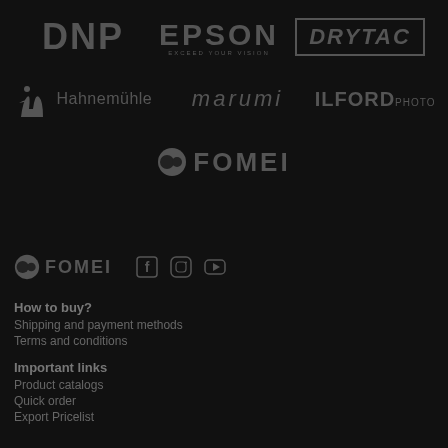[Figure (logo): DNP logo]
[Figure (logo): Epson logo with tagline EXCEED YOUR VISION]
[Figure (logo): Drytac logo]
[Figure (logo): Hahnemuhle logo with figure icon]
[Figure (logo): Marumi logo in italics]
[Figure (logo): Ilford Photo logo]
[Figure (logo): Fomei logo centered]
[Figure (logo): Fomei logo in footer with social media icons (Facebook, Instagram, YouTube)]
How to buy?
Shipping and payment methods
Terms and conditions
Important links
Product catalogs
Quick order
Export Pricelist